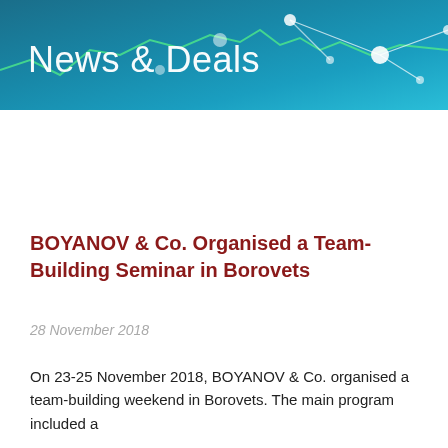[Figure (illustration): Blue banner with 'News & Deals' title text, featuring abstract network/chart lines in teal and white on a blue gradient background]
BOYANOV & Co. Organised a Team-Building Seminar in Borovets
28 November 2018
On 23-25 November 2018, BOYANOV & Co. organised a team-building weekend in Borovets. The main program included a